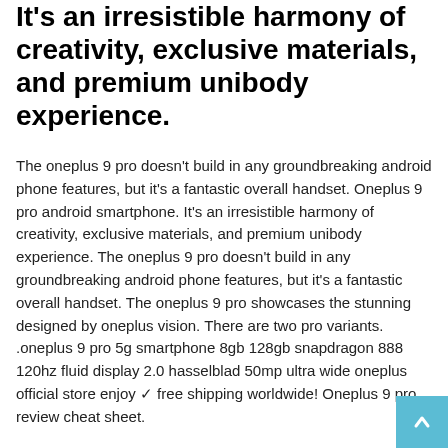It's an irresistible harmony of creativity, exclusive materials, and premium unibody experience.
The oneplus 9 pro doesn't build in any groundbreaking android phone features, but it's a fantastic overall handset. Oneplus 9 pro android smartphone. It's an irresistible harmony of creativity, exclusive materials, and premium unibody experience. The oneplus 9 pro doesn't build in any groundbreaking android phone features, but it's a fantastic overall handset. The oneplus 9 pro showcases the stunning designed by oneplus vision. There are two pro variants. .oneplus 9 pro 5g smartphone 8gb 128gb snapdragon 888 120hz fluid display 2.0 hasselblad 50mp ultra wide oneplus official store enjoy ✓ free shipping worldwide! Oneplus 9 pro review cheat sheet.